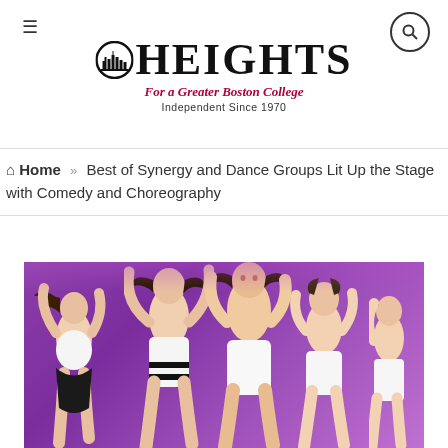The Heights — For a Greater Boston College — Independent Since 1970
Home » Best of Synergy and Dance Groups Lit Up the Stage with Comedy and Choreography
[Figure (photo): Dancers performing on stage with a purple background, wearing white outfits, captured mid-performance with dynamic movement and flowing hair.]